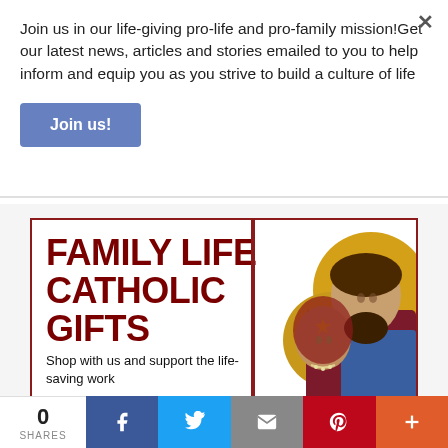Join us in our life-giving pro-life and pro-family mission!Get our latest news, articles and stories emailed to you to help inform and equip you as you strive to build a culture of life
Join us!
[Figure (infographic): Family Life Catholic Gifts advertisement banner with Orthodox Christian icon of Mary and Jesus/Holy Family on the right side, bold dark red text 'FAMILY LIFE CATHOLIC GIFTS' on the left, and smaller text 'Shop with us and support the life-saving work' at the bottom left]
0
SHARES